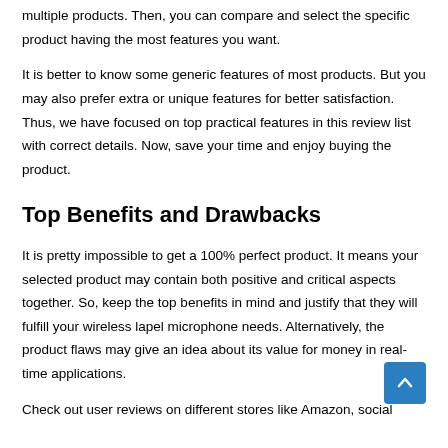multiple products. Then, you can compare and select the specific product having the most features you want.
It is better to know some generic features of most products. But you may also prefer extra or unique features for better satisfaction. Thus, we have focused on top practical features in this review list with correct details. Now, save your time and enjoy buying the product.
Top Benefits and Drawbacks
It is pretty impossible to get a 100% perfect product. It means your selected product may contain both positive and critical aspects together. So, keep the top benefits in mind and justify that they will fulfill your wireless lapel microphone needs. Alternatively, the product flaws may give an idea about its value for money in real-time applications.
Check out user reviews on different stores like Amazon, social